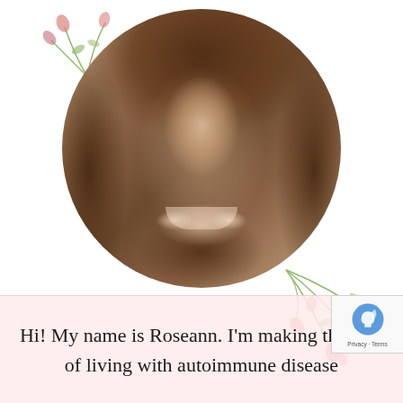[Figure (photo): Circular portrait photo of a smiling woman with shoulder-length brown hair, with watercolor floral decorations (pink flowers) in the top-left and bottom-right corners]
Hi! My name is Roseann. I'm making the best of living with autoimmune disease